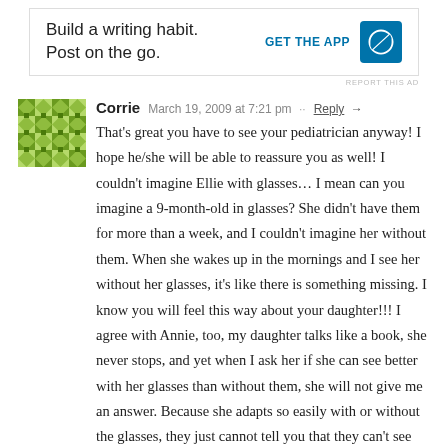[Figure (other): WordPress advertisement banner: 'Build a writing habit. Post on the go.' with GET THE APP button and WordPress logo]
REPORT THIS AD
Corrie   March 19, 2009 at 7:21 pm  Reply →
That's great you have to see your pediatrician anyway! I hope he/she will be able to reassure you as well! I couldn't imagine Ellie with glasses… I mean can you imagine a 9-month-old in glasses? She didn't have them for more than a week, and I couldn't imagine her without them. When she wakes up in the mornings and I see her without her glasses, it's like there is something missing. I know you will feel this way about your daughter!!! I agree with Annie, too, my daughter talks like a book, she never stops, and yet when I ask her if she can see better with her glasses than without them, she will not give me an answer. Because she adapts so easily with or without the glasses, they just cannot tell you that they can't see well. On another note, we get more comments about how cute Ellie is with her glasses than we do with my three other children combined! 🙂 I am sure your